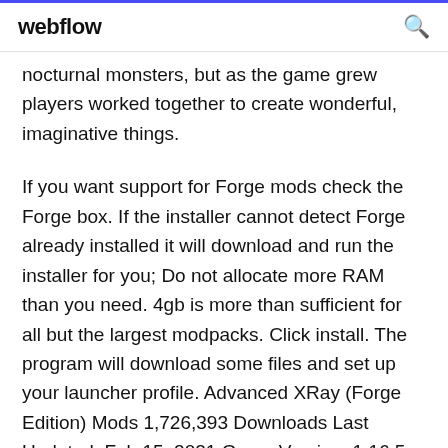webflow
nocturnal monsters, but as the game grew players worked together to create wonderful, imaginative things.
If you want support for Forge mods check the Forge box. If the installer cannot detect Forge already installed it will download and run the installer for you; Do not allocate more RAM than you need. 4gb is more than sufficient for all but the largest modpacks. Click install. The program will download some files and set up your launcher profile. Advanced XRay (Forge Edition) Mods 1,726,393 Downloads Last Updated: Feb 15, 2021 Game Version: 1.16.5. Download Description Files Images - We've